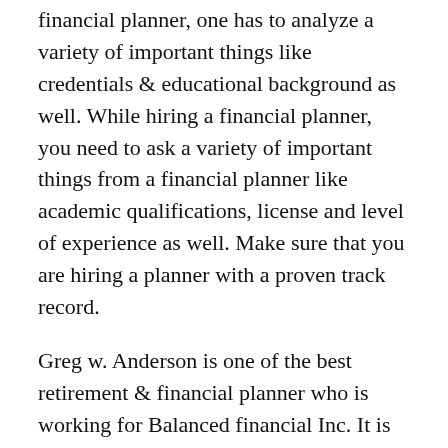financial planner, one has to analyze a variety of important things like credentials & educational background as well. While hiring a financial planner, you need to ask a variety of important things from a financial planner like academic qualifications, license and level of experience as well. Make sure that you are hiring a planner with a proven track record.
Greg w. Anderson is one of the best retirement & financial planner who is working for Balanced financial Inc. It is considered a full-financial firm in Colorado. To know more regarding him then you should check Greg Anderson on Wattpad. Following are some important aspects that you must take into account while choosing a financial planner.
Checkout credentials